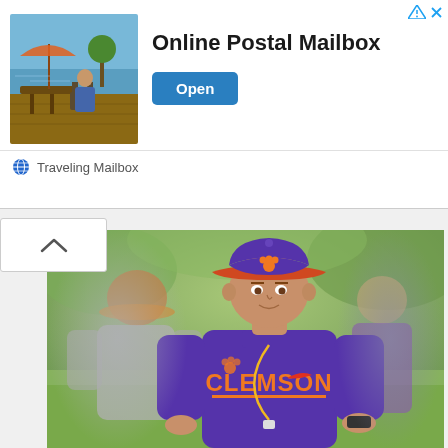[Figure (photo): Advertisement banner: vacation/travel scene thumbnail on left, large bold text 'Online Postal Mailbox' in center, blue 'Open' button on right, 'Traveling Mailbox' source label at bottom left. Ad icons (triangle and X) in top right corner.]
Online Postal Mailbox
Open
Traveling Mailbox
[Figure (photo): Photograph of a Clemson football coach (wearing purple Clemson t-shirt and purple/orange Clemson cap with paw logo) smiling on a practice field. Other people visible in background, blurred. Coach has a lanyard/badge around his neck and a watch on his wrist.]